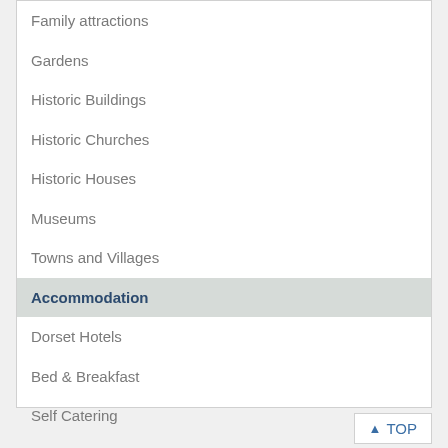Family attractions
Gardens
Historic Buildings
Historic Churches
Historic Houses
Museums
Towns and Villages
Accommodation
Dorset Hotels
Bed & Breakfast
Self Catering